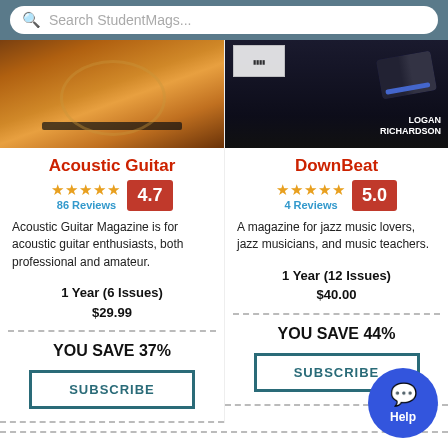Search StudentMags...
[Figure (photo): Acoustic guitar magazine cover showing close-up of acoustic guitar]
Acoustic Guitar
86 Reviews  4.7
Acoustic Guitar Magazine is for acoustic guitar enthusiasts, both professional and amateur.
1 Year (6 Issues)
$29.99
YOU SAVE 37%
SUBSCRIBE
[Figure (photo): DownBeat magazine cover featuring Logan Richardson with blue sneakers]
DownBeat
4 Reviews  5.0
A magazine for jazz music lovers, jazz musicians, and music teachers.
1 Year (12 Issues)
$40.00
YOU SAVE 44%
SUBSCRIBE